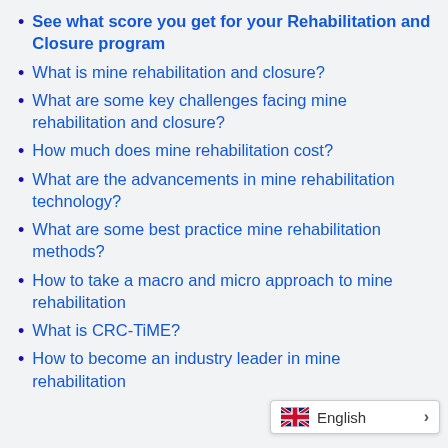See what score you get for your Rehabilitation and Closure program
What is mine rehabilitation and closure?
What are some key challenges facing mine rehabilitation and closure?
How much does mine rehabilitation cost?
What are the advancements in mine rehabilitation technology?
What are some best practice mine rehabilitation methods?
How to take a macro and micro approach to mine rehabilitation
What is CRC-TiME?
How to become an industry leader in mine rehabilitation